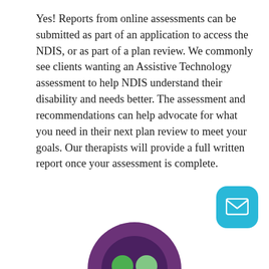Yes! Reports from online assessments can be submitted as part of an application to access the NDIS, or as part of a plan review. We commonly see clients wanting an Assistive Technology assessment to help NDIS understand their disability and needs better. The assessment and recommendations can help advocate for what you need in their next plan review to meet your goals. Our therapists will provide a full written report once your assessment is complete.
[Figure (illustration): A teal/cyan rounded square chat button with a white envelope/mail icon, positioned in the bottom-right corner of the page.]
[Figure (logo): Bottom portion of a circular logo partially visible at the bottom center of the page, with purple and green colors.]